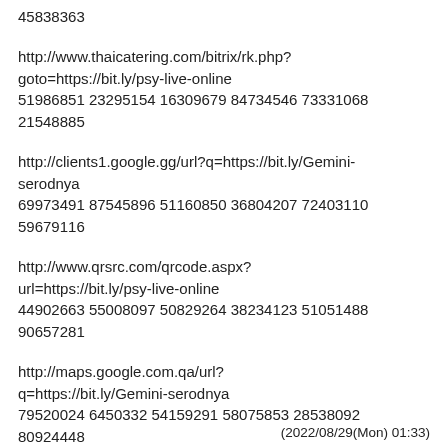45838363
http://www.thaicatering.com/bitrix/rk.php?goto=https://bit.ly/psy-live-online
51986851 23295154 16309679 84734546 73331068 21548885
http://clients1.google.gg/url?q=https://bit.ly/Gemini-serodnya
69973491 87545896 51160850 36804207 72403110 59679116
http://www.qrsrc.com/qrcode.aspx?url=https://bit.ly/psy-live-online
44902663 55008097 50829264 38234123 51051488 90657281
http://maps.google.com.qa/url?q=https://bit.ly/Gemini-serodnya
79520024 6450332 54159291 58075853 28538092 80924448
(2022/08/29(Mon) 01:33)